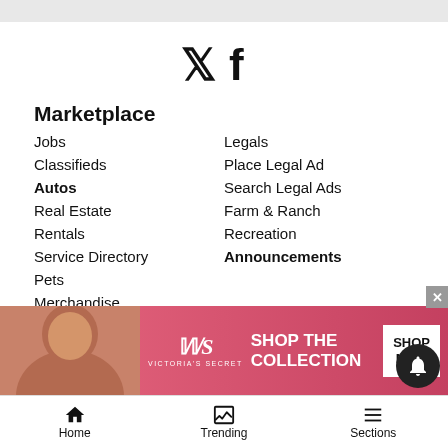[Figure (other): Social media icons: Twitter bird and Facebook f]
Marketplace
Jobs
Legals
Classifieds
Place Legal Ad
Autos
Search Legal Ads
Real Estate
Farm & Ranch
Rentals
Recreation
Service Directory
Announcements
Pets
Merchandise
Reader Tools
Contact Us
Buy Photos
Become a Carrier
Commercial Print Sales
Submiss...
Submit a...
[Figure (photo): Victoria's Secret advertisement banner with model, VS logo, SHOP THE COLLECTION text, and SHOP NOW button]
Home  Trending  Sections